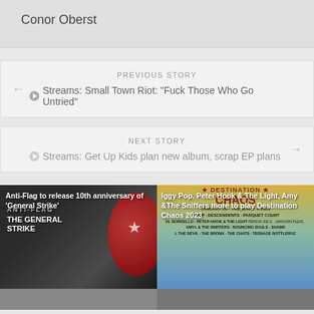Conor Oberst
PREVIOUS STORY
▶Streams: Small Town Riot: "Fuck Those Who Go Untried"
NEXT STORY
▶Streams: Get Up Kids plan new album, scrap EP plans
[Figure (photo): Anti-Flag 'The General Strike' album art with red vinyl record]
Anti-Flag to release 10th anniversary of 'General Strike'
[Figure (photo): Destination Chaos 2023 festival poster with lineup]
Iggy Pop, Peter Hook & The Light, Amy & The Sniffers  more to play Destination Chaos 2023